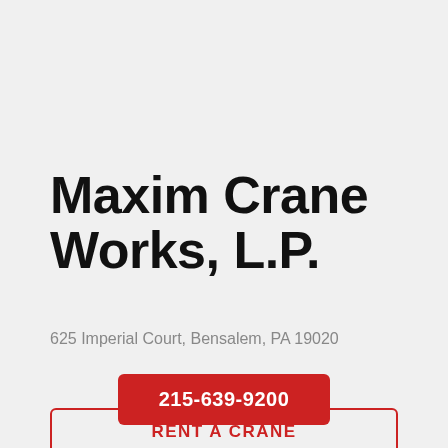Maxim Crane Works, L.P.
625 Imperial Court, Bensalem, PA 19020
215-639-9200
RENT A CRANE